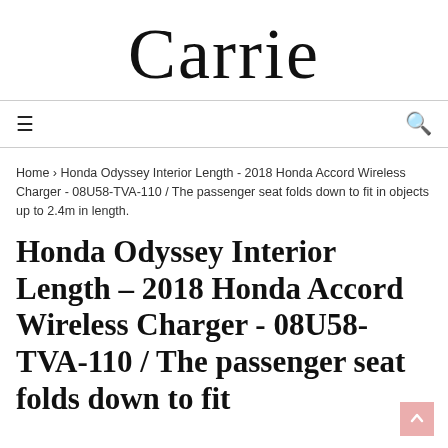Carrie
Home › Honda Odyssey Interior Length - 2018 Honda Accord Wireless Charger - 08U58-TVA-110 / The passenger seat folds down to fit in objects up to 2.4m in length.
Honda Odyssey Interior Length - 2018 Honda Accord Wireless Charger - 08U58-TVA-110 / The passenger seat folds down to fit